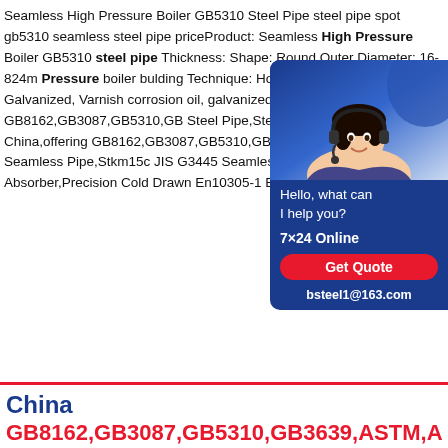Seamless High Pressure Boiler GB5310 Steel Pipe steel pipe spot gb5310 seamless steel pipe priceProduct: Seamless High Pressure Boiler GB5310 steel pipe Thickness: Shape: Round Outer Diameter: 16-824m Pressure boiler bulding Technique: Hot R Surface Treatment: Galvanized, Varnish corrosion oil, galvanized or painting Spe PipeChina GB8162,GB3087,GB5310,GB Steel Pipe,Steel Tube,Tubing manufactu China,offering GB8162,GB3087,GB5310,GB3639,ASTM Carbon Steel Seamless Pipe,Stkm15c JIS G3445 Seamless Steel Pipe for Auto Shock Absorber,Precision Cold Drawn En10305-1 E355 Seamless Steel Tube
[Figure (other): Chat widget with customer service representative photo, 'Hello, what can I help you?', '7×24 Online', 'Get Quote' button, and email 'bsteel1@163.com' on dark blue background]
China GB8162,GB3087,GB5310,GB3639,ASTM,A